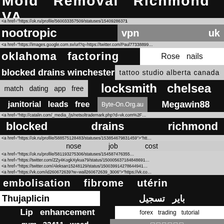Mold Removal Richmond VA
<a href="https://ok.ru/profile/560033357509/statuses/154092863717…
nootropic
vpn uk
<a href="https://images.google.com.sv/url?q=https://twitter.com/Paul77338899…
oklahoma factoring
Rose nails
blocked drains winchester
tattoo studio alberta canada
match dating app free
locksmith chelsea
janitorial leads free
Byte-On.Org.au
Megawin88
<a href="http://catalin.com/_media_/js/netsoltrademark.php?d=vk.com%2F…
blocked drains richmond
<a href="https://ok.ru/profile/588575128483/statuses/153854679831459">"htt…
nose job cost
<a href="https://ok.ru/profile/581193275306/statuses/154587476355…
<a href="https://twitter.com/ZZy4KogkXykua79/status/150005637184848691…
<a href="https://twitter.com/Aleksan15248129/status/150039914278644941…
<a href="https://vk.com/id260672639?w=wall260672639_3006">"https://vk.co…
embolisation fibrome utérin
Thujaplicin
بایر تسجیل
Lip enhancement
forex trading tutorial
gym 33411 weed
□ □ □ □ □ □
<a href="https://twitter.com/Paul77338899/status/1543320369137…